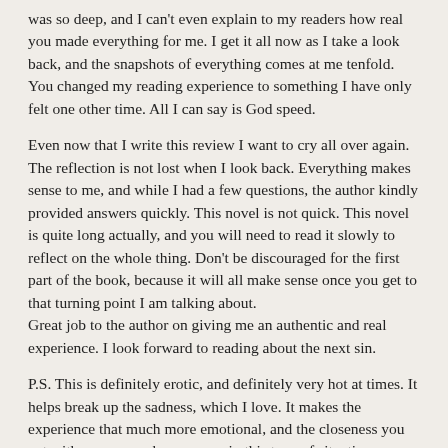was so deep, and I can't even explain to my readers how real you made everything for me. I get it all now as I take a look back, and the snapshots of everything comes at me tenfold. You changed my reading experience to something I have only felt one other time. All I can say is God speed.
Even now that I write this review I want to cry all over again. The reflection is not lost when I look back. Everything makes sense to me, and while I had a few questions, the author kindly provided answers quickly. This novel is not quick. This novel is quite long actually, and you will need to read it slowly to reflect on the whole thing. Don't be discouraged for the first part of the book, because it will all make sense once you get to that turning point I am talking about.
Great job to the author on giving me an authentic and real experience. I look forward to reading about the next sin.
P.S. This is definitely erotic, and definitely very hot at times. It helps break up the sadness, which I love. It makes the experience that much more emotional, and the closeness you get with someone when you are in this type of situation.